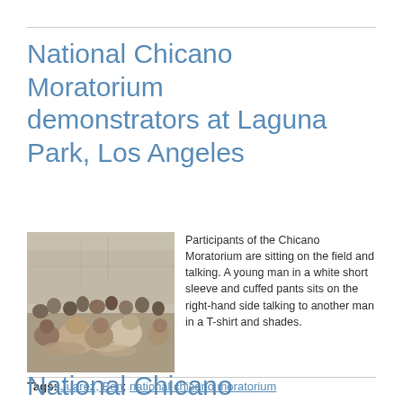National Chicano Moratorium demonstrators at Laguna Park, Los Angeles
[Figure (photo): Black and white photograph of participants of the Chicano Moratorium sitting on a field at Laguna Park, Los Angeles. A young man in a white short sleeve and cuffed pants sits on the right-hand side talking to another man in a T-shirt and shades.]
Participants of the Chicano Moratorium are sitting on the field and talking. A young man in a white short sleeve and cuffed pants sits on the right-hand side talking to another man in a T-shirt and shades.
Tags: Juarez, Ben; national chicano moratorium
National Chicano